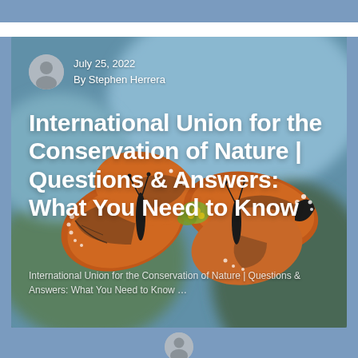[Figure (photo): Webpage screenshot showing two monarch butterflies on a flower against a blurred green-blue background, with overlaid text including article title and author info]
July 25, 2022
By Stephen Herrera
International Union for the Conservation of Nature | Questions & Answers: What You Need to Know
International Union for the Conservation of Nature | Questions & Answers: What You Need to Know …